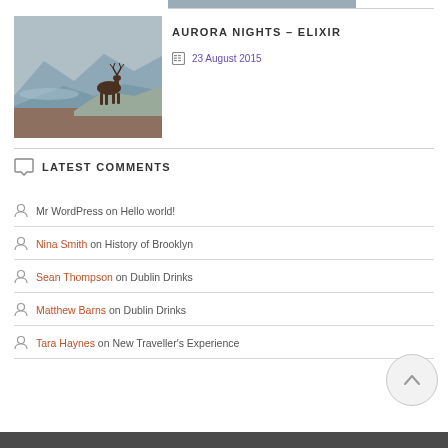[Figure (photo): Partial top strip of a photo (cropped at top of page)]
[Figure (photo): Photo of a deer/stag standing on a rocky hill with misty mountains and a loch in the background]
AURORA NIGHTS – ELIXIR
23 August 2015
LATEST COMMENTS
Mr WordPress on Hello world!
Nina Smith on History of Brooklyn
Sean Thompson on Dublin Drinks
Matthew Barns on Dublin Drinks
Tara Haynes on New Traveller's Experience